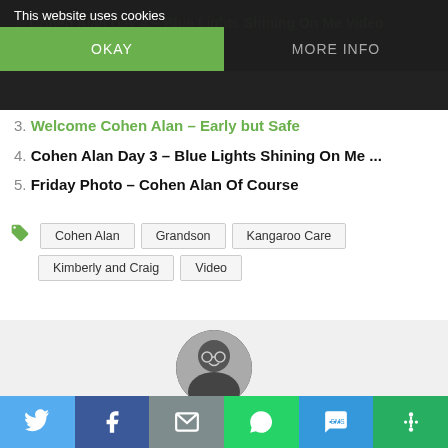1. Cohen Alan Day 4 – Blue Lights Shining On Me Video
This website uses cookies
OKAY  |  MORE INFO
3. Welcome Cohen Alan – Early but Safe
4. Cohen Alan Day 3 – Blue Lights Shining On Me ...
5. Friday Photo – Cohen Alan Of Course
Tags: Cohen Alan, Grandson, Kangaroo Care, Kimberly and Craig, Video
[Figure (photo): Circular avatar photo of a smiling elderly person wearing glasses, black and white photo]
[Figure (infographic): Social sharing bar with Twitter (blue), Facebook (dark blue), Email (gray), WhatsApp (green), SMS (blue), More (green) buttons]